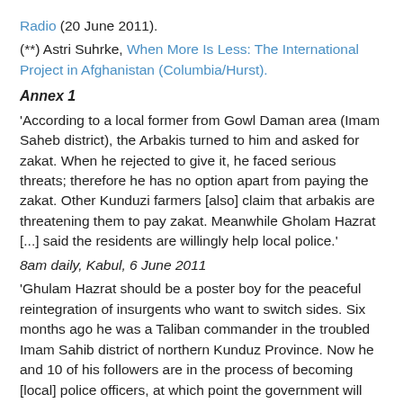Radio (20 June 2011).
(**) Astri Suhrke, When More Is Less: The International Project in Afghanistan (Columbia/Hurst).
Annex 1
'According to a local former from Gowl Daman area (Imam Saheb district), the Arbakis turned to him and asked for zakat. When he rejected to give it, he faced serious threats; therefore he has no option apart from paying the zakat. Other Kunduzi farmers [also] claim that arbakis are threatening them to pay zakat. Meanwhile Gholam Hazrat [...] said the residents are willingly help local police.'
8am daily, Kabul, 6 June 2011
'Ghulam Hazrat should be a poster boy for the peaceful reintegration of insurgents who want to switch sides. Six months ago he was a Taliban commander in the troubled Imam Sahib district of northern Kunduz Province. Now he and 10 of his followers are in the process of becoming [local] police officers, at which point the government will start paying them salaries. In the meantime, however, Mr. Hazrat